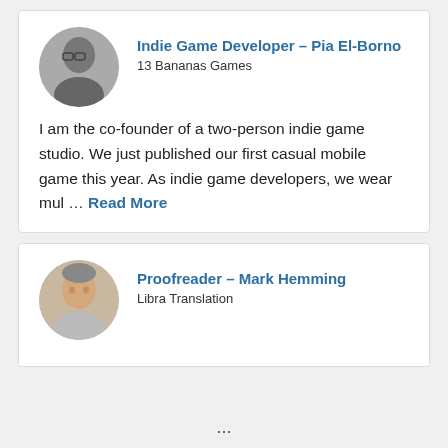[Figure (photo): Circular profile photo of a person with glasses, grayscale]
Indie Game Developer – Pia El-Borno
13 Bananas Games
I am the co-founder of a two-person indie game studio. We just published our first casual mobile game this year. As indie game developers, we wear mul … Read More
[Figure (photo): Circular profile photo of a man with short hair, color photo]
Proofreader – Mark Hemming
Libra Translation